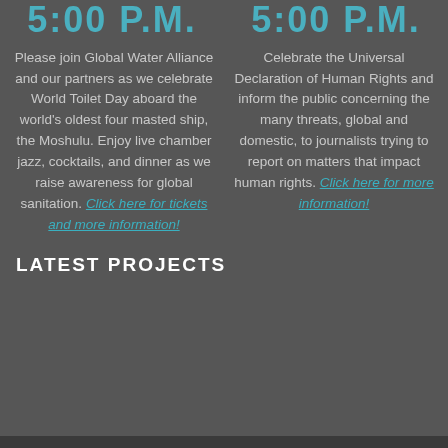5:00 P.M.
Please join Global Water Alliance and our partners as we celebrate World Toilet Day aboard the world's oldest four masted ship, the Moshulu. Enjoy live chamber jazz, cocktails, and dinner as we raise awareness for global sanitation. Click here for tickets and more information!
5:00 P.M.
Celebrate the Universal Declaration of Human Rights and inform the public concerning the many threats, global and domestic, to journalists trying to report on matters that impact human rights. Click here for more information!
LATEST PROJECTS